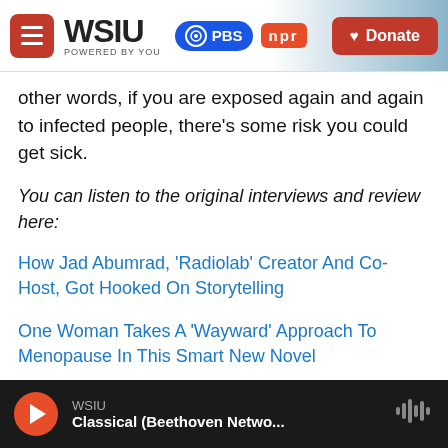[Figure (screenshot): WSIU website header with menu button, WSIU logo, PBS and NPR badges, and Donate button]
other words, if you are exposed again and again to infected people, there's some risk you could get sick.
You can listen to the original interviews and review here:
How Jad Abumrad, 'Radiolab' Creator And Co-Host, Got Hooked On Storytelling
One Woman Takes A 'Wayward' Approach To Menopause In This Smart New Novel
Think Of Your COVID-19 Vaccine Like A Very Good
[Figure (screenshot): Audio player bar at bottom: WSIU Classical (Beethoven Netwo...) with play button and waveform icon]